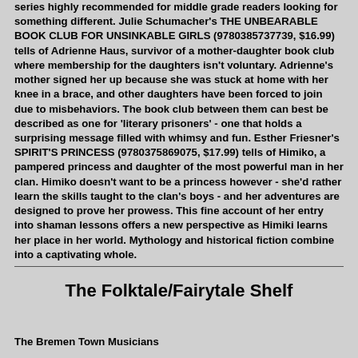series highly recommended for middle grade readers looking for something different. Julie Schumacher's THE UNBEARABLE BOOK CLUB FOR UNSINKABLE GIRLS (9780385737739, $16.99) tells of Adrienne Haus, survivor of a mother-daughter book club where membership for the daughters isn't voluntary. Adrienne's mother signed her up because she was stuck at home with her knee in a brace, and other daughters have been forced to join due to misbehaviors. The book club between them can best be described as one for 'literary prisoners' - one that holds a surprising message filled with whimsy and fun. Esther Friesner's SPIRIT'S PRINCESS (9780375869075, $17.99) tells of Himiko, a pampered princess and daughter of the most powerful man in her clan. Himiko doesn't want to be a princess however - she'd rather learn the skills taught to the clan's boys - and her adventures are designed to prove her prowess. This fine account of her entry into shaman lessons offers a new perspective as Himiki learns her place in her world. Mythology and historical fiction combine into a captivating whole.
The Folktale/Fairytale Shelf
The Bremen Town Musicians